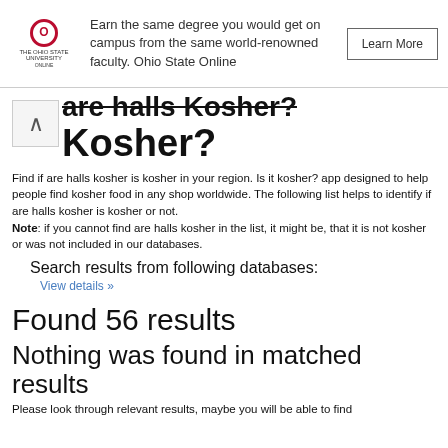Earn the same degree you would get on campus from the same world-renowned faculty. Ohio State Online | Learn More
are halls Kosher? Kosher?
Find if are halls kosher is kosher in your region. Is it kosher? app designed to help people find kosher food in any shop worldwide. The following list helps to identify if are halls kosher is kosher or not. Note: if you cannot find are halls kosher in the list, it might be, that it is not kosher or was not included in our databases.
Search results from following databases:
View details »
Found 56 results
Nothing was found in matched results
Please look through relevant results, maybe you will be able to find